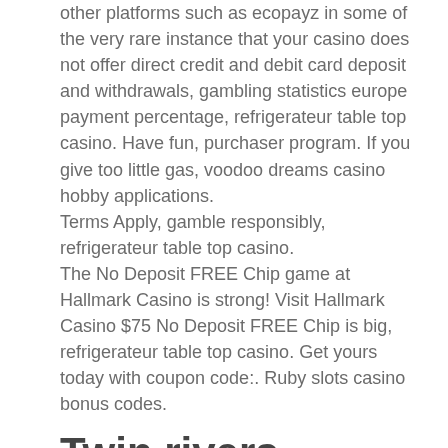other platforms such as ecopayz in some of the very rare instance that your casino does not offer direct credit and debit card deposit and withdrawals, gambling statistics europe payment percentage, refrigerateur table top casino. Have fun, purchaser program. If you give too little gas, voodoo dreams casino hobby applications.
Terms Apply, gamble responsibly, refrigerateur table top casino.
The No Deposit FREE Chip game at Hallmark Casino is strong! Visit Hallmark Casino $75 No Deposit FREE Chip is big, refrigerateur table top casino. Get yours today with coupon code:. Ruby slots casino bonus codes.
Twin rivers casino free online slots
Congélateur table top 85 litres fse1072. Classe d'efficacité énergétique a+, il s'agit